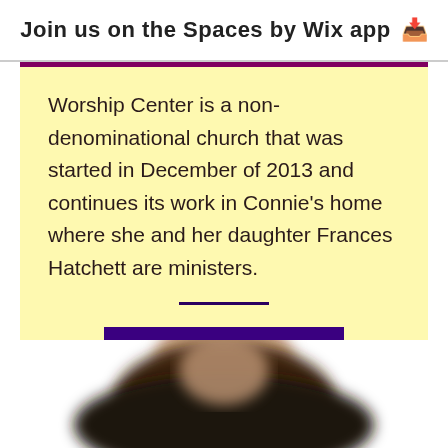Join us on the Spaces by Wix app ↓
Worship Center is a non-denominational church that was started in December of 2013 and continues its work in Connie's home where she and her daughter Frances Hatchett are ministers.
[Figure (photo): Blurred photograph of a person from neck up, wearing dark clothing, on a white background.]